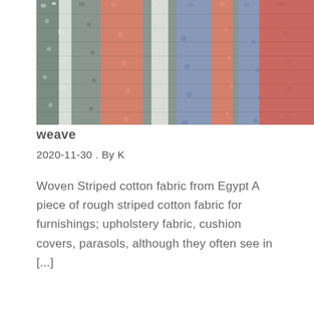[Figure (photo): Close-up photograph of woven striped cotton fabric from Egypt showing vertical stripes in salmon/coral pink, grey, dusty blue, and white colors in a rough woven texture.]
weave
2020-11-30 .  By K
Woven Striped cotton fabric from Egypt A piece of rough striped cotton fabric for furnishings; upholstery fabric, cushion covers, parasols, although they often see in [...]